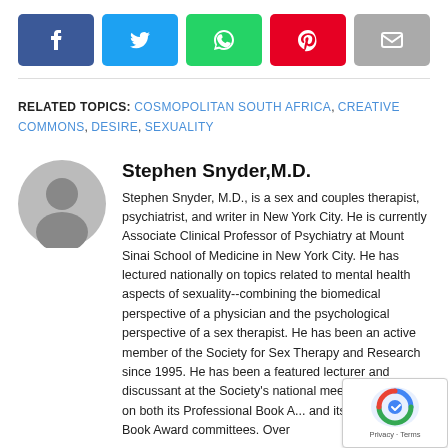[Figure (other): Social share buttons: Facebook (blue), Twitter (light blue), WhatsApp (green), Pinterest (red), Email (gray)]
RELATED TOPICS: COSMOPOLITAN SOUTH AFRICA, CREATIVE COMMONS, DESIRE, SEXUALITY
[Figure (photo): Circular gray avatar placeholder with a silhouette of a person]
Stephen Snyder,M.D.
Stephen Snyder, M.D., is a sex and couples therapist, psychiatrist, and writer in New York City. He is currently Associate Clinical Professor of Psychiatry at Mount Sinai School of Medicine in New York City. He has lectured nationally on topics related to mental health aspects of sexuality--combining the biomedical perspective of a physician and the psychological perspective of a sex therapist. He has been an active member of the Society for Sex Therapy and Research since 1995. He has been a featured lecturer and discussant at the Society's national meetings, and has served on both its Professional Book Award and its Consumer Book Award committees. Over